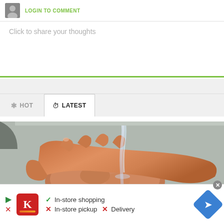LOGIN TO COMMENT
Click to share your thoughts
HOT   LATEST
[Figure (photo): Close-up photo of a hand washing or cleaning a piece of raw chicken under running water at a sink]
In-store shopping
In-store pickup   Delivery